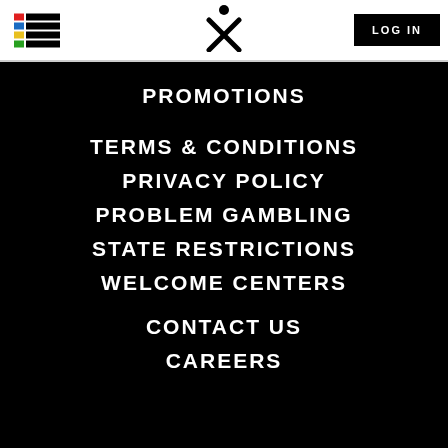Navigation header with hamburger/colored-bar logo, X person logo, and LOG IN button
PROMOTIONS
TERMS & CONDITIONS
PRIVACY POLICY
PROBLEM GAMBLING
STATE RESTRICTIONS
WELCOME CENTERS
CONTACT US
CAREERS